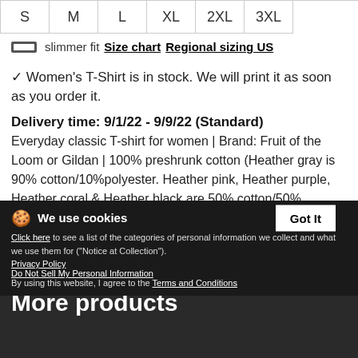| S | M | L | XL | 2XL | 3XL |
| --- | --- | --- | --- | --- | --- |
slimmer fit  Size chart  Regional sizing US
✓ Women's T-Shirt is in stock. We will print it as soon as you order it.
Delivery time: 9/1/22 - 9/9/22 (Standard)
Everyday classic T-shirt for women | Brand: Fruit of the Loom or Gildan | 100% preshrunk cotton (Heather gray is 90% cotton/10%polyester. Heather pink, Heather purple, Heather coral & Heather black are 50% cotton/50% polyester) ITEMS RUNS SMALL.
13 products with this design
Product details
We use cookies
Got It
Click here to see a list of the categories of personal information we collect and what we use them for ("Notice at Collection").
Privacy Policy
Do Not Sell My Personal Information
By using this website, I agree to the Terms and Conditions
More products